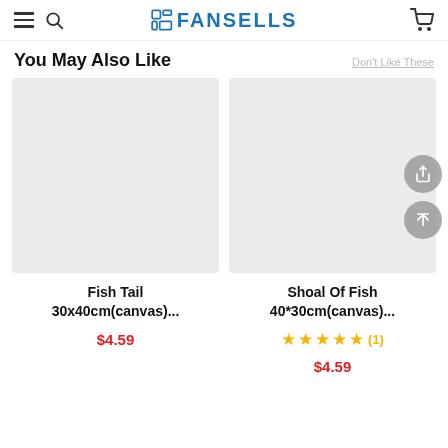FANSELLS
You May Also Like
[Figure (photo): Gray placeholder product image for Fish Tail 30x40cm canvas]
Fish Tail 30x40cm(canvas)...
$4.59
[Figure (photo): Gray placeholder product image for Shoal Of Fish 40*30cm canvas with share and scroll-to-top buttons]
Shoal Of Fish 40*30cm(canvas)...
★★★★★ (1)
$4.59